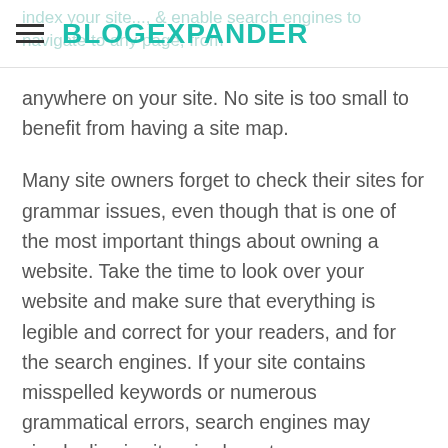BLOGEXPANDER
anywhere on your site. No site is too small to benefit from having a site map.
Many site owners forget to check their sites for grammar issues, even though that is one of the most important things about owning a website. Take the time to look over your website and make sure that everything is legible and correct for your readers, and for the search engines. If your site contains misspelled keywords or numerous grammatical errors, search engines may simply dismiss it as irrelevant.